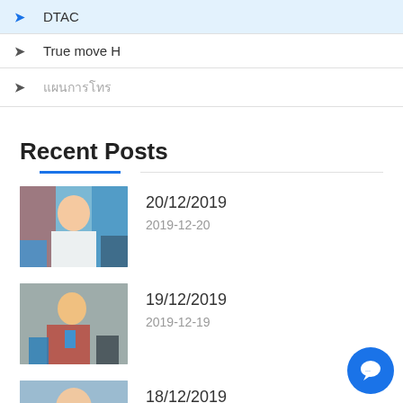DTAC
True move H
แผนการโทร
Recent Posts
[Figure (photo): Thumbnail photo of a person in a store, 20/12/2019]
20/12/2019
2019-12-20
[Figure (photo): Thumbnail photo of a person holding a phone, 19/12/2019]
19/12/2019
2019-12-19
[Figure (photo): Thumbnail photo of a child with a phone, 18/12/2019]
18/12/2019